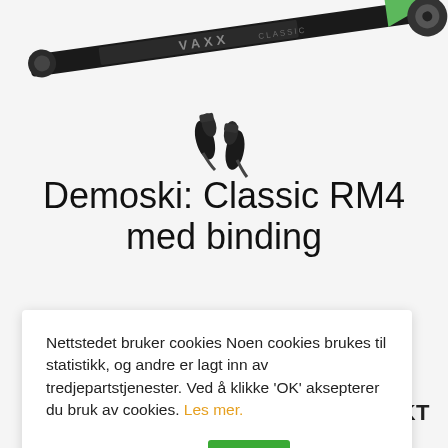[Figure (photo): Product photo of a rolleski (Classic RM4) with bindings. The ski is shown diagonally from top left to top right with a green binding at the far end, and separately, two black ski bindings shown below the ski.]
Demoski: Classic RM4 med binding
Nettstedet bruker cookies Noen cookies brukes til statistikk, og andre er lagt inn av tredjepartstjenester. Ved å klikke 'OK' aksepterer du bruk av cookies. Les mer.
Cookie innstillinger   OK
JKT
Sammenlign produkter